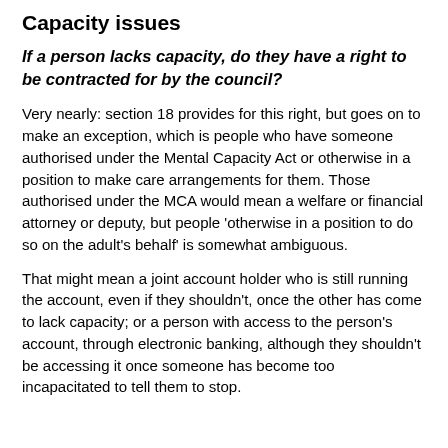Capacity issues
If a person lacks capacity, do they have a right to be contracted for by the council?
Very nearly: section 18 provides for this right, but goes on to make an exception, which is people who have someone authorised under the Mental Capacity Act or otherwise in a position to make care arrangements for them. Those authorised under the MCA would mean a welfare or financial attorney or deputy, but people 'otherwise in a position to do so on the adult's behalf' is somewhat ambiguous.
That might mean a joint account holder who is still running the account, even if they shouldn't, once the other has come to lack capacity; or a person with access to the person's account, through electronic banking, although they shouldn't be accessing it once someone has become too incapacitated to tell them to stop.